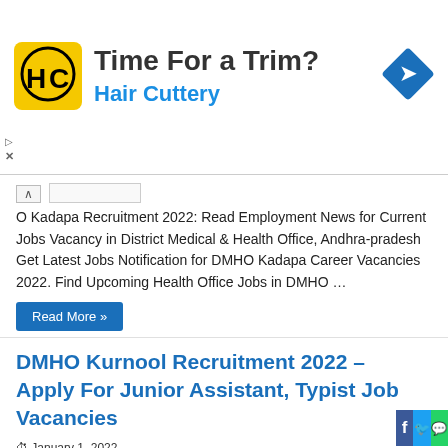[Figure (illustration): Hair Cuttery advertisement banner with logo, 'Time For a Trim?' heading, 'Hair Cuttery' subtitle in blue, and navigation arrow icon]
O Kadapa Recruitment 2022: Read Employment News for Current Jobs Vacancy in District Medical & Health Office, Andhra-pradesh Get Latest Jobs Notification for DMHO Kadapa Career Vacancies 2022. Find Upcoming Health Office Jobs in DMHO …
Read More »
DMHO Kurnool Recruitment 2022 – Apply For Junior Assistant, Typist Job Vacancies
January 1, 2022
Junior Assistant, 12th Pass Govt Jobs, Assistant Vacancy, Attendant, B.Ed - M.Ed, B.sc, B.Sc Nursing, Bachelor Degree, Consultant Vacancies, Counselor Vacancies, Data Entry Operator, Diploma/Degree Vacancy, DMHO, Doctor Vacancy, Field Worker, GNM Nursing, Graduate/Graduation, Intermediate, Kurnool District / City, Lab Technician, M. Phil, M. Sc, M.C.A (Master of Computer Applications)